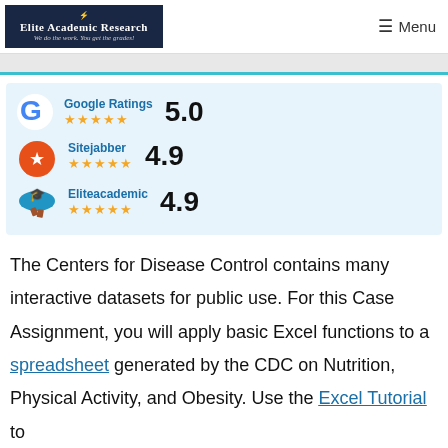Elite Academic Research — We do the work. You get the grades! | Menu
[Figure (infographic): Ratings infographic showing Google Ratings 5.0 (5 stars), Sitejabber 4.9 (5 stars), Eliteacademic 4.9 (5 stars)]
The Centers for Disease Control contains many interactive datasets for public use. For this Case Assignment, you will apply basic Excel functions to a spreadsheet generated by the CDC on Nutrition, Physical Activity, and Obesity. Use the Excel Tutorial to